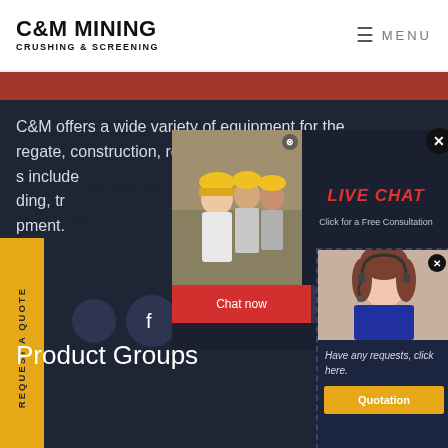C&M MINING CRUSHING & SCREENING | MENU
C&M offers a wide variety of equipment for the aggregate, construction, recycling, mining. Products include ... and ... ding, tr... pment.
[Figure (screenshot): Live Chat popup with construction workers photo, LIVE CHAT title in red, Click for a Free Consultation text, Chat now (red) and Chat later (dark) buttons]
[Figure (screenshot): Quotation popup with customer service photo, Have any requests, click here. text, and Quotation yellow button]
REQUEST A QUOTE (sidebar tab)
[Figure (illustration): Social media icons: Facebook and Instagram circles on dark background]
Product Groups